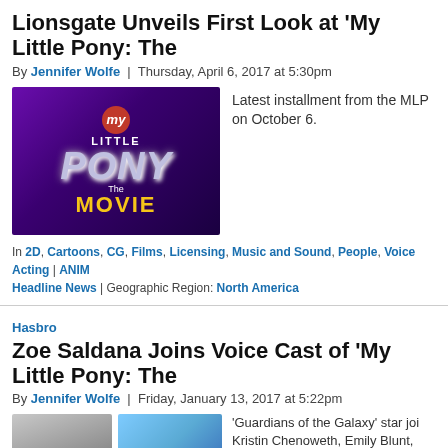Lionsgate Unveils First Look at 'My Little Pony: The
By Jennifer Wolfe | Thursday, April 6, 2017 at 5:30pm
[Figure (photo): My Little Pony: The Movie logo/title card on purple background]
Latest installment from the MLP on October 6.
In 2D, Cartoons, CG, Films, Licensing, Music and Sound, People, Voice Acting | ANIM Headline News | Geographic Region: North America
Hasbro
Zoe Saldana Joins Voice Cast of 'My Little Pony: The
By Jennifer Wolfe | Friday, January 13, 2017 at 5:22pm
[Figure (photo): Zoe Saldana photo on left, My Little Pony: The Movie poster on right]
'Guardians of the Galaxy' star joi Kristin Chenoweth, Emily Blunt, Sia, Uzo Aduba, and Michael Pef behind the 'Mane 6' from the 'M series: Andrea Libman, Tara Stro Cann, and Cathy We...